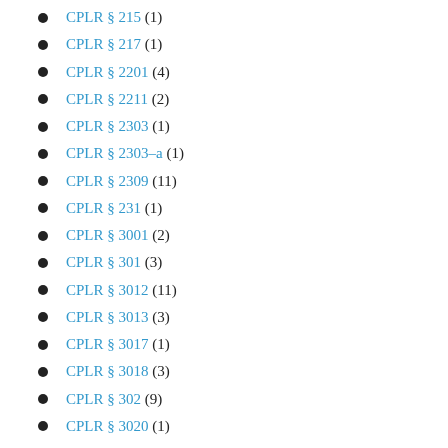CPLR § 215 (1)
CPLR § 217 (1)
CPLR § 2201 (4)
CPLR § 2211 (2)
CPLR § 2303 (1)
CPLR § 2303–a (1)
CPLR § 2309 (11)
CPLR § 231 (1)
CPLR § 3001 (2)
CPLR § 301 (3)
CPLR § 3012 (11)
CPLR § 3013 (3)
CPLR § 3017 (1)
CPLR § 3018 (3)
CPLR § 302 (9)
CPLR § 3020 (1)